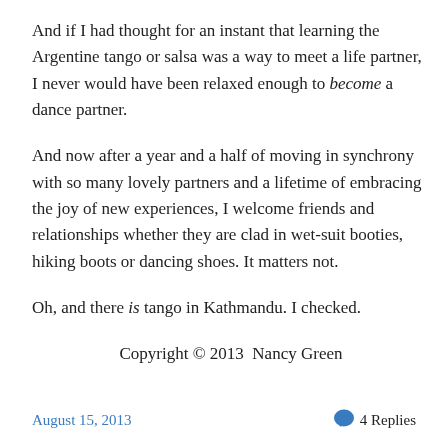And if I had thought for an instant that learning the Argentine tango or salsa was a way to meet a life partner, I never would have been relaxed enough to become a dance partner.
And now after a year and a half of moving in synchrony with so many lovely partners and a lifetime of embracing the joy of new experiences, I welcome friends and relationships whether they are clad in wet-suit booties, hiking boots or dancing shoes. It matters not.
Oh, and there is tango in Kathmandu. I checked.
Copyright © 2013  Nancy Green
August 15, 2013   4 Replies